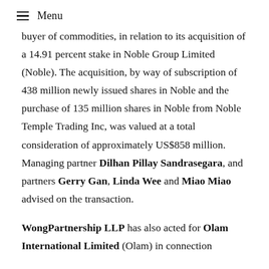≡ Menu
buyer of commodities, in relation to its acquisition of a 14.91 percent stake in Noble Group Limited (Noble). The acquisition, by way of subscription of 438 million newly issued shares in Noble and the purchase of 135 million shares in Noble from Noble Temple Trading Inc, was valued at a total consideration of approximately US$858 million. Managing partner Dilhan Pillay Sandrasegara, and partners Gerry Gan, Linda Wee and Miao Miao advised on the transaction.
WongPartnership LLP has also acted for Olam International Limited (Olam) in connection